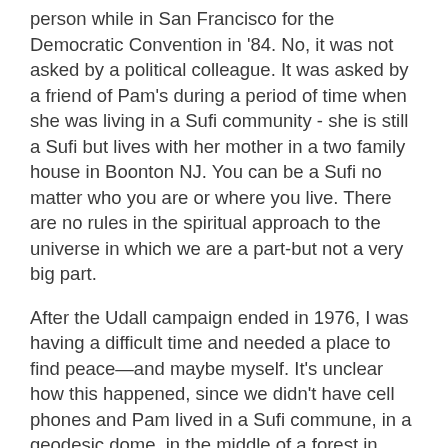person while in San Francisco for the Democratic Convention in '84. No, it was not asked by a political colleague. It was asked by a friend of Pam's during a period of time when she was living in a Sufi community - she is still a Sufi but lives with her mother in a two family house in Boonton NJ. You can be a Sufi no matter who you are or where you live. There are no rules in the spiritual approach to the universe in which we are a part-but not a very big part.
After the Udall campaign ended in 1976, I was having a difficult time and needed a place to find peace—and maybe myself. It's unclear how this happened, since we didn't have cell phones and Pam lived in a Sufi commune, in a geodesic dome, in the middle of a forest in Woodstock NY, but we connected. (It was the real Woodstock, but by then they had picked up the trash so it was both magical and pristine). She invited me to bring Seth and visit with her for a few days, to join in the music, dance and ongoing spiritual conversation. It was both relaxing and reinvigorating. Talk about culture shock and personal reality. I had been 24/7 darting around the country, never stopping to have a thought about anything but trying to elect a President, while these lovely free